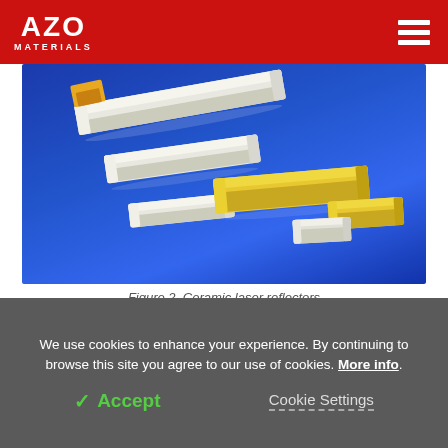AZO MATERIALS
[Figure (photo): Photograph of ceramic laser reflectors on a blue background. Several white and yellow U-shaped ceramic channel pieces of various sizes are arranged on a vibrant blue surface.]
Figure 2. Ceramic laser reflectors
We use cookies to enhance your experience. By continuing to browse this site you agree to our use of cookies. More info.
✓ Accept   Cookie Settings